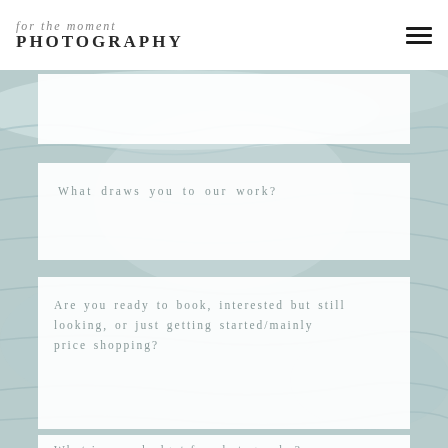for the moment PHOTOGRAPHY
[Figure (photo): Ocean/beach background with light teal waves, visible behind card panels]
What draws you to our work?
Are you ready to book, interested but still looking, or just getting started/mainly price shopping?
What is your budget for photography?